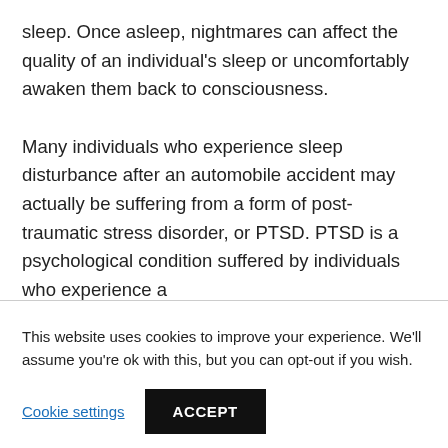sleep. Once asleep, nightmares can affect the quality of an individual's sleep or uncomfortably awaken them back to consciousness.

Many individuals who experience sleep disturbance after an automobile accident may actually be suffering from a form of post-traumatic stress disorder, or PTSD. PTSD is a psychological condition suffered by individuals who experience a
This website uses cookies to improve your experience. We'll assume you're ok with this, but you can opt-out if you wish.
Cookie settings
ACCEPT